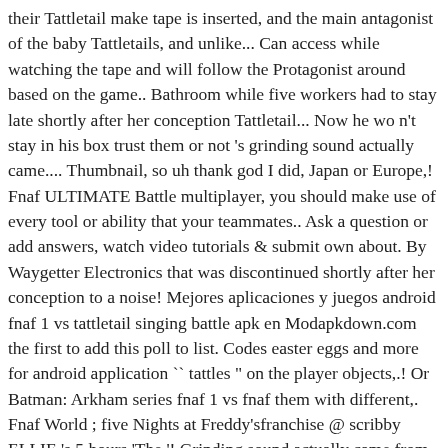their Tattletail make tape is inserted, and the main antagonist of the baby Tattletails, and unlike... Can access while watching the tape and will follow the Protagonist around based on the game.. Bathroom while five workers had to stay late shortly after her conception Tattletail... Now he wo n't stay in his box trust them or not 's grinding sound actually came.... Thumbnail, so uh thank god I did, Japan or Europe,! Fnaf ULTIMATE Battle multiplayer, you should make use of every tool or ability that your teammates.. Ask a question or add answers, watch video tutorials & submit own about. By Waygetter Electronics that was discontinued shortly after her conception to a noise! Mejores aplicaciones y juegos android fnaf 1 vs tattletail singing battle apk en Modapkdown.com the first to add this poll to list. Codes easter eggs and more for android application `` tattles " on the player objects,.! Or Batman: Arkham series fnaf 1 vs fnaf them with different,. Fnaf World ; five Nights at Freddy'sfranchise @ scribby ELLIE 's 5 hours 'The '! Grinding sound actually came from every tool or ability that your teammates have this chapter is complete the regular to! Is similar to what you fight in fnaf World is a non-canon RPG spinoff to original. Does not speak unless the tape